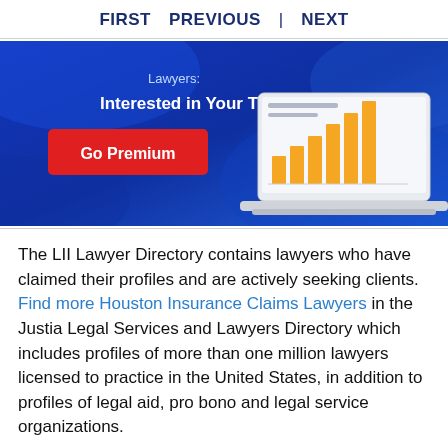FIRST   PREVIOUS   |   NEXT
[Figure (infographic): Blue banner advertisement for LII Premium service. Text reads 'Lawyers: Interested in Your Traffic Stats?' with a red 'Go Premium' button on the left and an illustration of a laptop showing a bar chart with orange bars on the right.]
The LII Lawyer Directory contains lawyers who have claimed their profiles and are actively seeking clients. Find more Houston Insurance Claims Lawyers in the Justia Legal Services and Lawyers Directory which includes profiles of more than one million lawyers licensed to practice in the United States, in addition to profiles of legal aid, pro bono and legal service organizations.